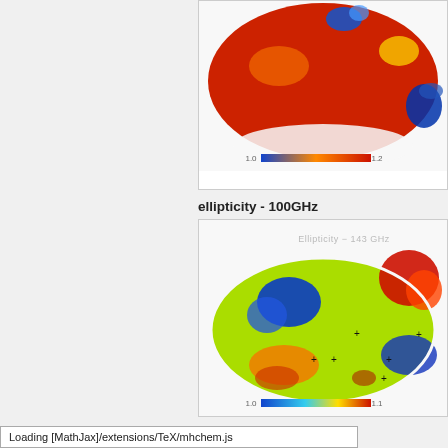[Figure (continuous-plot): All-sky Mollweide projection map (partial, top cropped) showing beam shape ratio at ~70GHz, colored from blue (1.0) to red (1.2). Colorbar below shows 1.0 (blue) to 1.2 (red).]
ellipticity - 100GHz
[Figure (continuous-plot): All-sky Mollweide projection map showing Ellipticity at 143 GHz, colored from blue (1.0) to red (1.1). Title reads 'Ellipticity - 143 GHz'. Several black cross markers visible on the map. Colorbar below shows 1.0 (blue) to 1.1 (red).]
Loading [MathJax]/extensions/TeX/mhchem.js